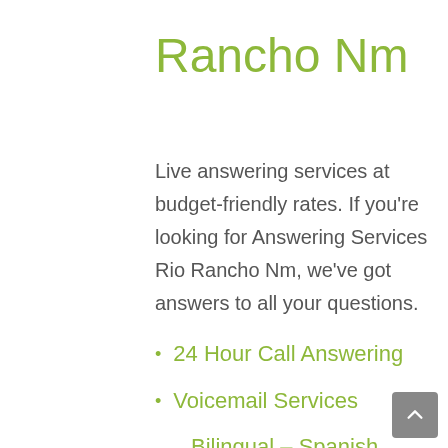Rancho Nm
Live answering services at budget-friendly rates. If you're looking for Answering Services Rio Rancho Nm, we've got answers to all your questions.
24 Hour Call Answering
Voicemail Services
Bilingual – Spanish Speaking